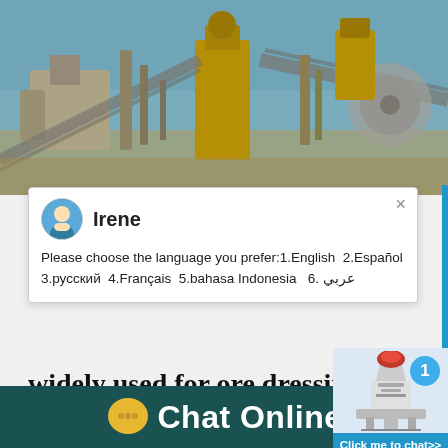[Figure (photo): Industrial mining/ore processing machinery with yellow equipment, conveyors, and blue sky background]
[Figure (screenshot): Chat popup window with agent 'Irene' offering language selection: 1.English 2.Español 3.русский 4.Français 5.bahasa Indonesia 6. عربي]
widely used for ore dressing
Widely Used Copper Ore Flotation Cell Fa... 2/3/2020 Flotation machine are mainly use...
[Figure (photo): Cone crusher machine image with blue notification badge showing '1' and 'Click me to chat>>' button]
Chat Online